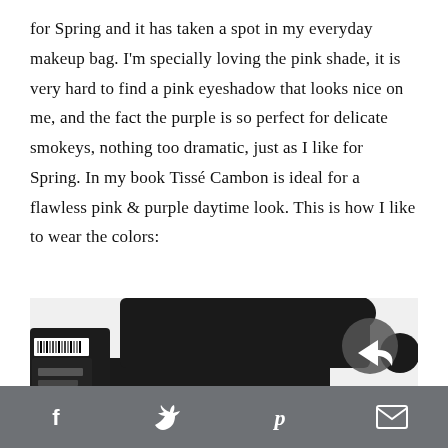for Spring and it has taken a spot in my everyday makeup bag. I'm specially loving the pink shade, it is very hard to find a pink eyeshadow that looks nice on me, and the fact the purple is so perfect for delicate smokeys, nothing too dramatic, just as I like for Spring. In my book Tissé Cambon is ideal for a flawless pink & purple daytime look. This is how I like to wear the colors:
[Figure (photo): Close-up photo of a Chanel eyeshadow palette with two pans — a shimmery rose-gold shade and a pale pink shade — resting on a black and white polka dot surface, with a share icon in the top right corner.]
Social sharing icons: Facebook, Twitter, Pinterest, Email